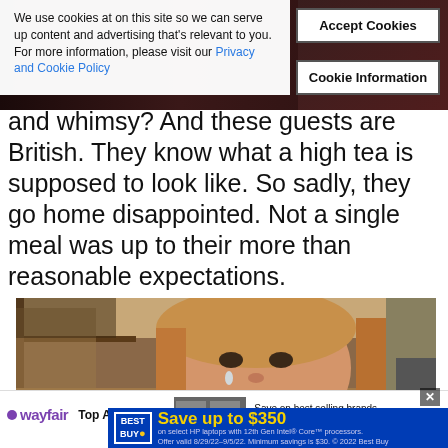[Figure (photo): Dark background image from a TV show with text overlaid at top]
We use cookies at on this site so we can serve up content and advertising that's relevant to you. For more information, please visit our Privacy and Cookie Policy
Accept Cookies
Cookie Information
and whimsy? And these guests are British. They know what a high tea is supposed to look like. So sadly, they go home disappointed. Not a single meal was up to their more than reasonable expectations.
[Figure (photo): A woman with blonde hair crying, tears visible on her cheek]
wayfair Top Appliances Save on best selling brands that live up to the hype
BEST BUY Save up to $350 on select HP laptops with 12th Gen Intel® Core™ processors. Offer valid 8/29/22–9/5/22. Minimum savings is $30. © 2022 Best Buy